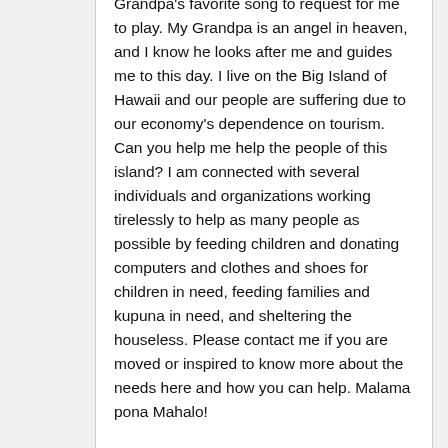Grandpa's favorite song to request for me to play. My Grandpa is an angel in heaven, and I know he looks after me and guides me to this day. I live on the Big Island of Hawaii and our people are suffering due to our economy's dependence on tourism. Can you help me help the people of this island? I am connected with several individuals and organizations working tirelessly to help as many people as possible by feeding children and donating computers and clothes and shoes for children in need, feeding families and kupuna in need, and sheltering the houseless. Please contact me if you are moved or inspired to know more about the needs here and how you can help. Malama pona Mahalo!